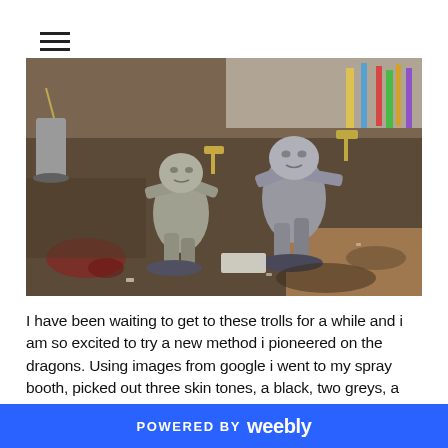[Figure (photo): Photo of unpainted grey miniature troll figures on a messy painting workbench with art supplies in the background]
I have been waiting to get to these trolls for a while and i am so excited to try a new method i pioneered on the dragons. Using images from google i went to my spray booth, picked out three skin tones, a black, two greys, a white and a beige and i slowly and gently built of layers of paint, as though using
POWERED BY weebly